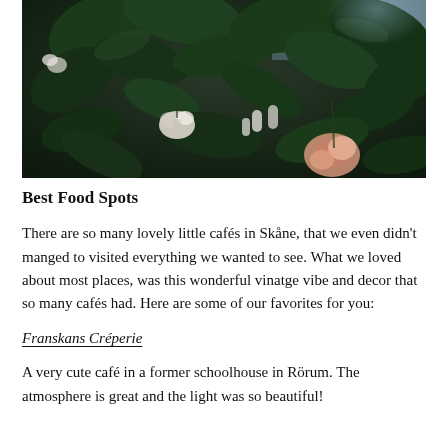[Figure (photo): Dark moody photograph of flowers and green leaves — pale pink and white blooms against deep green foliage with a blurred background]
Best Food Spots
There are so many lovely little cafés in Skåne, that we even didn't manged to visited everything we wanted to see. What we loved about most places, was this wonderful vinatge vibe and decor that so many cafés had. Here are some of our favorites for you:
Franskans Créperie
A very cute café in a former schoolhouse in Rörum. The atmosphere is great and the light was so beautiful!